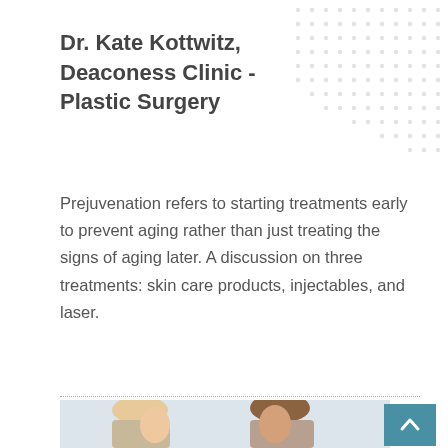Dr. Kate Kottwitz, Deaconess Clinic - Plastic Surgery
Prejuvenation refers to starting treatments early to prevent aging rather than just treating the signs of aging later. A discussion on three treatments: skin care products, injectables, and laser.
[Figure (photo): Two women smiling, one blonde and one brunette, in a clinical or consultation setting. Used to illustrate a plastic surgery / skin care article.]